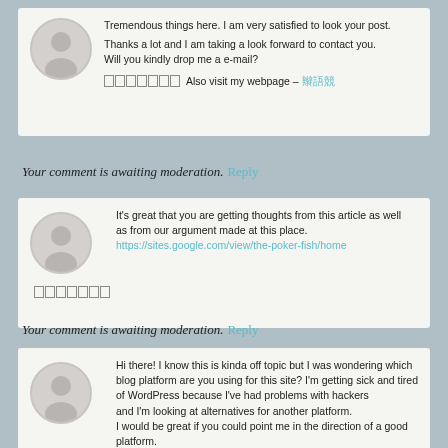Tremendous things here. I am very satisfied to look your post.

Thanks a lot and I am taking a look forward to contact you.
Will you kindly drop me a e-mail?

Also visit my webpage – [link]
Your comment is awaiting moderation. Reply
It's great that you are getting thoughts from this article as well
as from our argument made at this place.
https://sites.google.com/view/the-poker-fish/home
Your comment is awaiting moderation. Reply
Hi there! I know this is kinda off topic but I was wondering which blog platform are you using for this site? I'm getting sick and tired of WordPress because I've had problems with hackers
and I'm looking at alternatives for another platform.
I would be great if you could point me in the direction of a good platform.